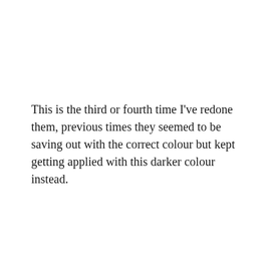This is the third or fourth time I've redone them, previous times they seemed to be saving out with the correct colour but kept getting applied with this darker colour instead.